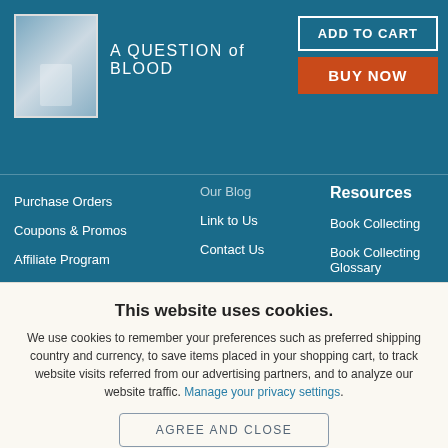A QUESTION of BLOOD
Our Blog
Link to Us
Contact Us
Purchase Orders
Coupons & Promos
Affiliate Program
Help & FAQs
Resources
Book Collecting
Book Collecting Glossary
Sell Books On Biblio
This website uses cookies.
We use cookies to remember your preferences such as preferred shipping country and currency, to save items placed in your shopping cart, to track website visits referred from our advertising partners, and to analyze our website traffic. Manage your privacy settings.